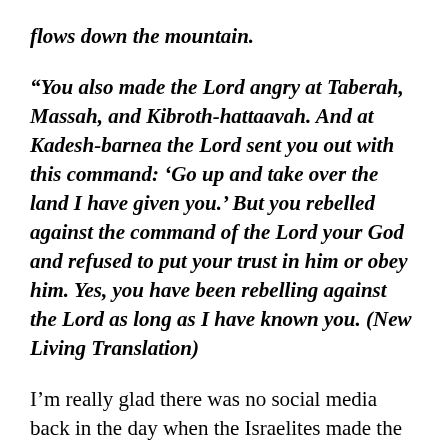flows down the mountain.
“You also made the Lord angry at Taberah, Massah, and Kibroth-hattaavah. And at Kadesh-barnea the Lord sent you out with this command: ‘Go up and take over the land I have given you.’ But you rebelled against the command of the Lord your God and refused to put your trust in him or obey him. Yes, you have been rebelling against the Lord as long as I have known you. (New Living Translation)
I’m really glad there was no social media back in the day when the Israelites made the golden calf idol. Most people tend to post